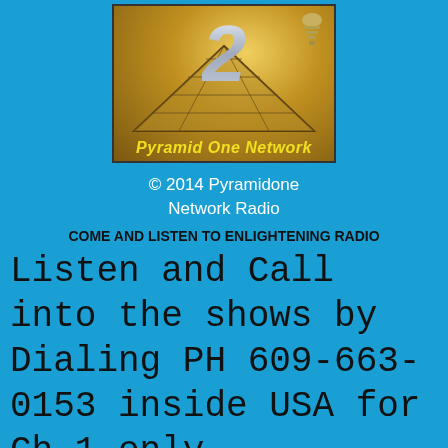[Figure (logo): Pyramid One Network logo with large metallic '2', pyramid graphic, and yellow italic text 'Pyramid One Network' on golden-brown background with small icon top-right]
© 2014 Pyramidone Network Radio
COME AND LISTEN TO ENLIGHTENING RADIO
Listen and Call into the shows by Dialing PH 609-663-0153 inside USA for Ch 1 only
Experience is everything, and here at Pyramid One RADIO, you will hear shows that will open your Mind to new levels of understanding. Our philosophy is to give you the benefits of all types of information to Enliven your Life with new avenues of mind, body, and spirit.